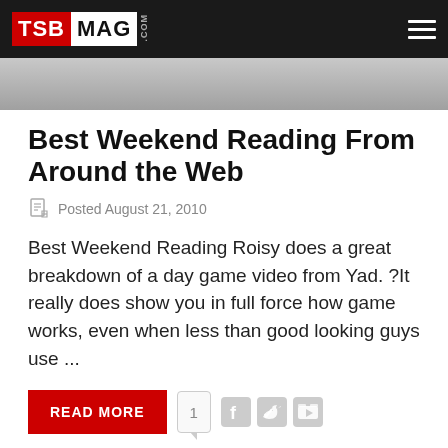TSB MAG .com
[Figure (photo): Partial photo strip showing a person, cropped at top]
Best Weekend Reading From Around the Web
Posted August 21, 2010
Best Weekend Reading Roisy does a great breakdown of a day game video from Yad. ?It really does show you in full force how game works, even when less than good looking guys use ...
READ MORE  1